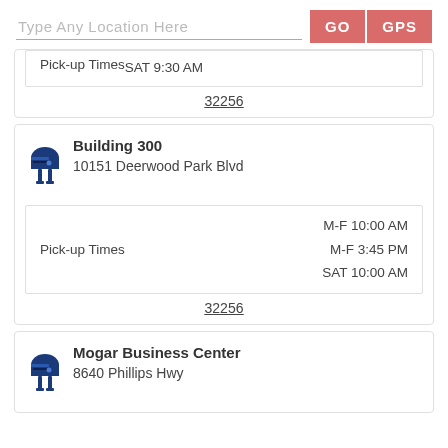Type Any Location Here | GO | GPS
Pick-up Times SAT 9:30 AM
32256
Building 300
10151 Deerwood Park Blvd
Pick-up Times M-F 10:00 AM M-F 3:45 PM SAT 10:00 AM
32256
Mogar Business Center
8640 Phillips Hwy